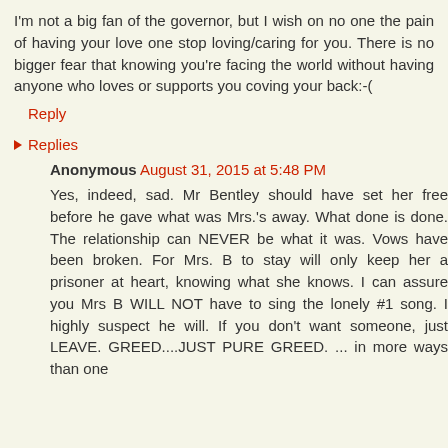I'm not a big fan of the governor, but I wish on no one the pain of having your love one stop loving/caring for you. There is no bigger fear that knowing you're facing the world without having anyone who loves or supports you coving your back:-(
Reply
▶ Replies
Anonymous August 31, 2015 at 5:48 PM
Yes, indeed, sad. Mr Bentley should have set her free before he gave what was Mrs.'s away. What done is done. The relationship can NEVER be what it was. Vows have been broken. For Mrs. B to stay will only keep her a prisoner at heart, knowing what she knows. I can assure you Mrs B WILL NOT have to sing the lonely #1 song. I highly suspect he will. If you don't want someone, just LEAVE. GREED....JUST PURE GREED. ... in more ways than one